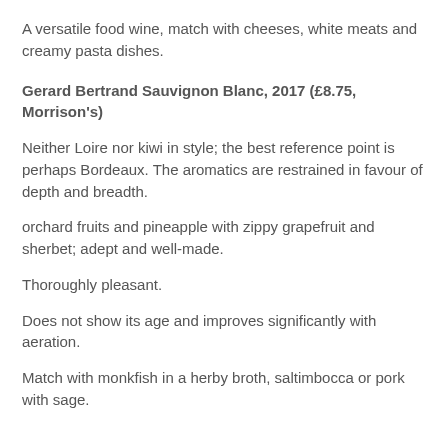A versatile food wine, match with cheeses, white meats and creamy pasta dishes.
Gerard Bertrand Sauvignon Blanc, 2017 (£8.75, Morrison's)
Neither Loire nor kiwi in style; the best reference point is perhaps Bordeaux. The aromatics are restrained in favour of depth and breadth.
orchard fruits and pineapple with zippy grapefruit and sherbet; adept and well-made.
Thoroughly pleasant.
Does not show its age and improves significantly with aeration.
Match with monkfish in a herby broth, saltimbocca or pork with sage.